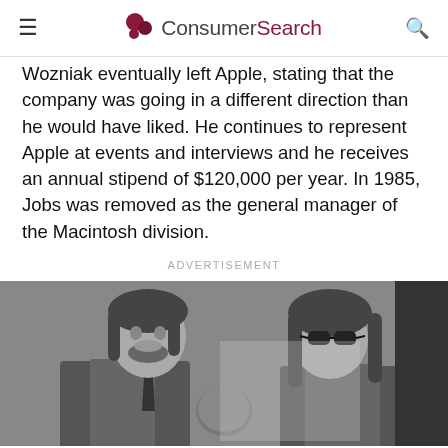ConsumerSearch
Wozniak eventually left Apple, stating that the company was going in a different direction than he would have liked. He continues to represent Apple at events and interviews and he receives an annual stipend of $120,000 per year. In 1985, Jobs was removed as the general manager of the Macintosh division.
ADVERTISEMENT
[Figure (photo): Black and white photograph of Steve Jobs (left, young with beard in suit and tie) and Steve Wozniak (right, with long hair and sunglasses) with an apple on a table between them.]